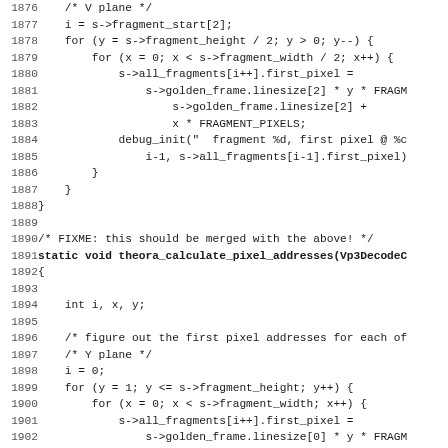Source code listing lines 1876-1907, C code for theora_calculate_pixel_addresses function